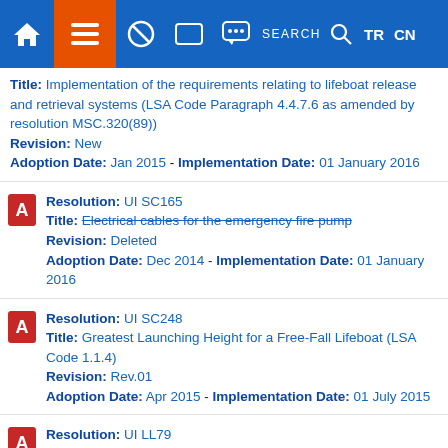Navigation bar with home, list, blocked, tablet, chat, SEARCH, magnifier, TR, CN icons
Title: Implementation of the requirements relating to lifeboat release and retrieval systems (LSA Code Paragraph 4.4.7.6 as amended by resolution MSC.320(89)) | Revision: New | Adoption Date: Jan 2015 - Implementation Date: 01 January 2016
Resolution: UI SC165 | Title: Electrical cables for the emergency fire pump | Revision: Deleted | Adoption Date: Dec 2014 - Implementation Date: 01 January 2016
Resolution: UI SC248 | Title: Greatest Launching Height for a Free-Fall Lifeboat (LSA Code 1.1.4) | Revision: Rev.01 | Adoption Date: Apr 2015 - Implementation Date: 01 July 2015
Resolution: UI LL79 | Title: Continuous hatchways (Regulation 36(6)) | Revision: New